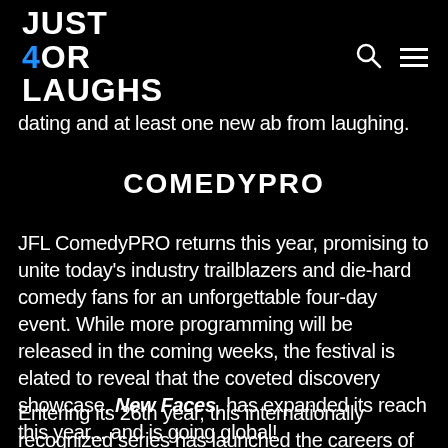JUST 4OR LAUGHS (logo) with search and menu icons
dating and at least one new ab from laughing.
COMEDYPRO
JFL ComedyPRO returns this year, promising to unite today's industry trailblazers and die-hard comedy fans for an unforgettable four-day event. While more programming will be released in the coming weeks, the festival is elated to reveal that the coveted discovery showcase, New Faces, has expanded its reach this year... and is going global!
Entering its 26th year, this internationally recognized series has launched the careers of so many of today's A